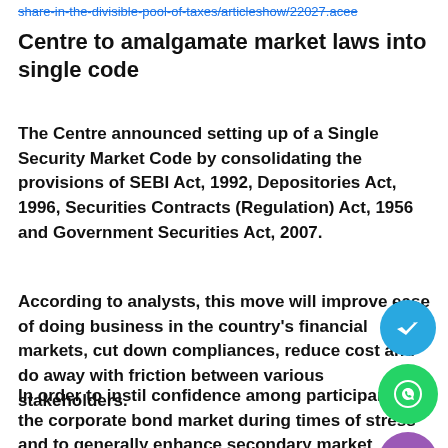share-in-the-divisible-pool-of-taxes/articleshow/22027.acee
Centre to amalgamate market laws into single code
The Centre announced setting up of a Single Security Market Code by consolidating the provisions of SEBI Act, 1992, Depositories Act, 1996, Securities Contracts (Regulation) Act, 1956 and Government Securities Act, 2007.
According to analysts, this move will improve ease of doing business in the country's financial markets, cut down compliances, reduce cost and do away with friction between various stakeholders.
In order to instil confidence among participants in the corporate bond market during times of stress and to generally enhance secondary market liquidity, the Budget has